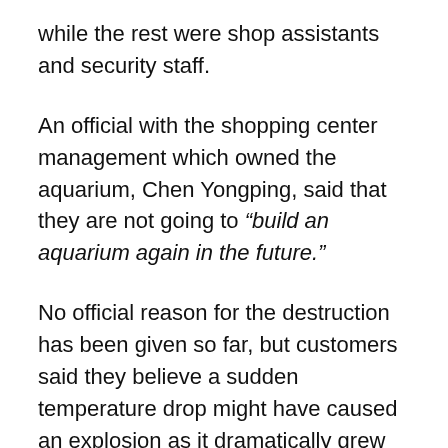while the rest were shop assistants and security staff.
An official with the shopping center management which owned the aquarium, Chen Yongping, said that they are not going to “build an aquarium again in the future.”
No official reason for the destruction has been given so far, but customers said they believe a sudden temperature drop might have caused an explosion as it dramatically grew colder in Shanghai last week.
The aquarium became a popular when it was